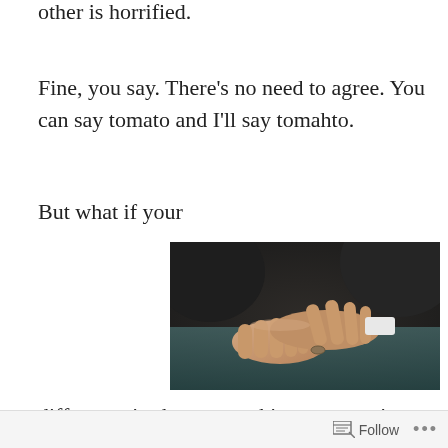is turning herein. One puts ketchup on eggs while the other is horrified.
Fine, you say. There's no need to agree. You can say tomato and I'll say tomahto.
But what if your
[Figure (photo): Close-up photograph of a person's hands, interlaced/gesturing, wearing a suit and a ring, with teal/dark background]
difference is about something more serious than diction or
Follow ...